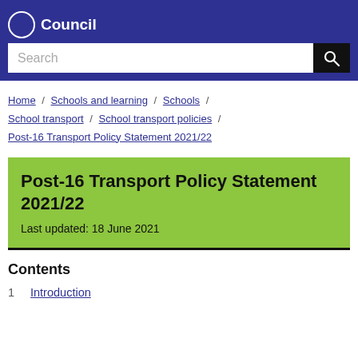Council
Search
Home / Schools and learning / Schools / School transport / School transport policies / Post-16 Transport Policy Statement 2021/22
Post-16 Transport Policy Statement 2021/22
Last updated: 18 June 2021
Contents
1    Introduction